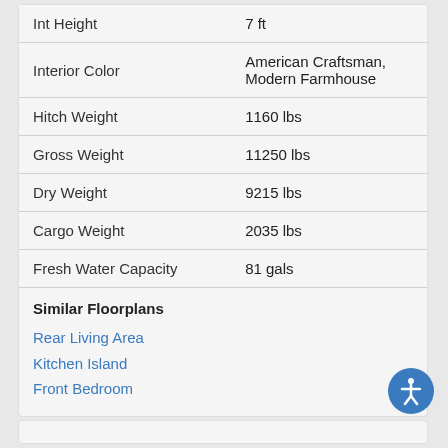| Attribute | Value |
| --- | --- |
| Int Height | 7 ft |
| Interior Color | American Craftsman, Modern Farmhouse |
| Hitch Weight | 1160 lbs |
| Gross Weight | 11250 lbs |
| Dry Weight | 9215 lbs |
| Cargo Weight | 2035 lbs |
| Fresh Water Capacity | 81 gals |
Similar Floorplans
Rear Living Area
Kitchen Island
Front Bedroom